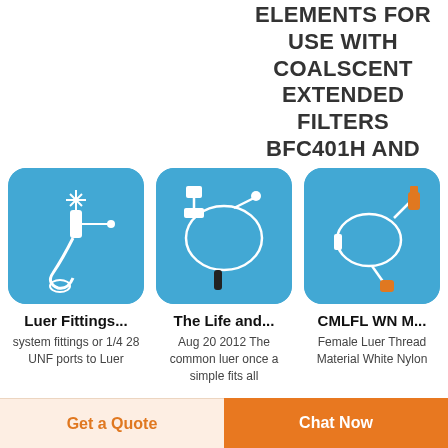ELEMENTS FOR USE WITH COALSCENT EXTENDED FILTERS BFC401H AND
[Figure (photo): Medical luer fitting connector device on blue background]
[Figure (photo): Medical tubing set with connectors on blue background]
[Figure (photo): Medical luer connector loop tubing on blue background]
Luer Fittings...
system fittings or 1/4 28 UNF ports to Luer
The Life and...
Aug 20 2012  The common luer once a simple fits all
CMLFL WN M...
Female Luer Thread Material White Nylon
Get a Quote
Chat Now